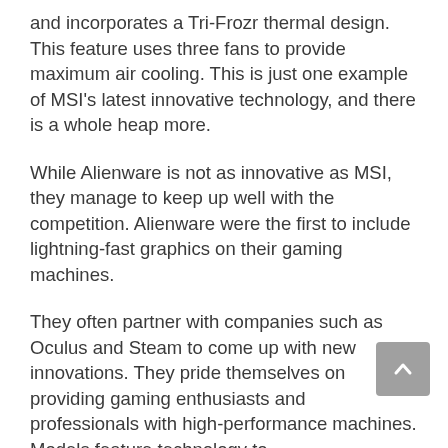and incorporates a Tri-Frozr thermal design. This feature uses three fans to provide maximum air cooling. This is just one example of MSI's latest innovative technology, and there is a whole heap more.
While Alienware is not as innovative as MSI, they manage to keep up well with the competition. Alienware were the first to include lightning-fast graphics on their gaming machines.
They often partner with companies such as Oculus and Steam to come up with new innovations. They pride themselves on providing gaming enthusiasts and professionals with high-performance machines. Models feature technology to